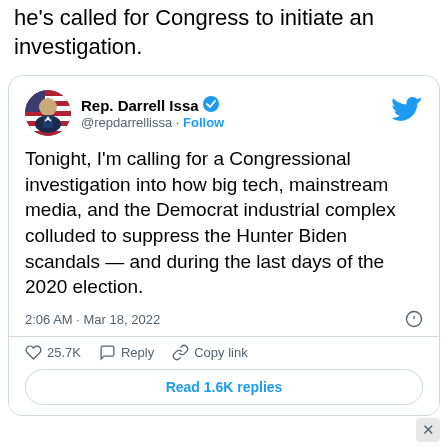he's called for Congress to initiate an investigation.
[Figure (screenshot): Embedded tweet from @repdarrellissa (Rep. Darrell Issa) with verified badge. Tweet text: "Tonight, I'm calling for a Congressional investigation into how big tech, mainstream media, and the Democrat industrial complex colluded to suppress the Hunter Biden scandals — and during the last days of the 2020 election." Posted 2:06 AM · Mar 18, 2022. 25.7K likes. Options: Reply, Copy link. Button: Read 1.6K replies.]